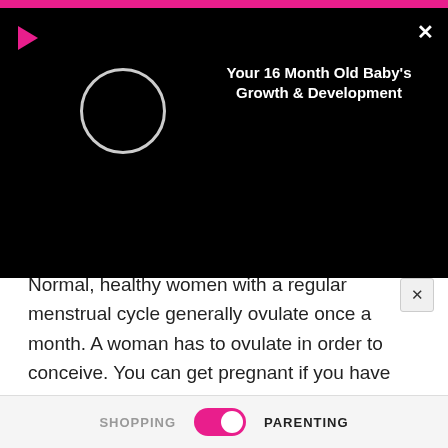[Figure (screenshot): Black video player overlay showing a loading circle and video title 'Your 16 Month Old Baby's Growth & Development' with a pink play button and close X button]
Normal, healthy women with a regular menstrual cycle generally ovulate once a month. A woman has to ovulate in order to conceive. You can get pregnant if you have intercourse 5 days before ovulation and 1 day after ovulation. This is because a man's sperm can survive in the female birth canal for up to 5 days.
RELATED LINKS
Infertility Center Near Me
SHOPPING   PARENTING